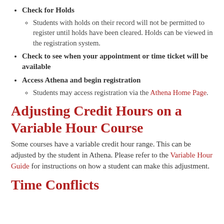Check for Holds
Students with holds on their record will not be permitted to register until holds have been cleared. Holds can be viewed in the registration system.
Check to see when your appointment or time ticket will be available
Access Athena and begin registration
Students may access registration via the Athena Home Page.
Adjusting Credit Hours on a Variable Hour Course
Some courses have a variable credit hour range. This can be adjusted by the student in Athena. Please refer to the Variable Hour Guide for instructions on how a student can make this adjustment.
Time Conflicts